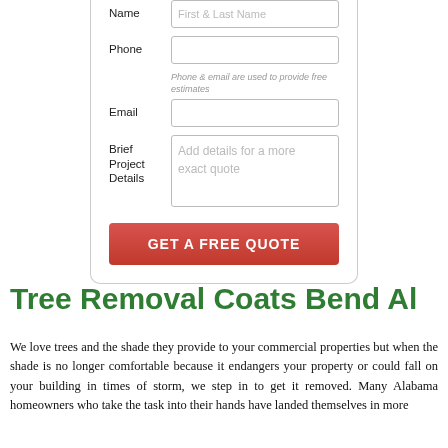[Figure (screenshot): A web form with fields for Name (placeholder: First & Last Name), Phone, Email, and Brief Project Details (placeholder: Add details for a more exact quote), and a red GET A FREE QUOTE button.]
Phone & email are used to provide free estimates
Tree Removal Coats Bend Al
We love trees and the shade they provide to your commercial properties but when the shade is no longer comfortable because it endangers your property or could fall on your building in times of storm, we step in to get it removed. Many Alabama homeowners who take the task into their hands have landed themselves in more